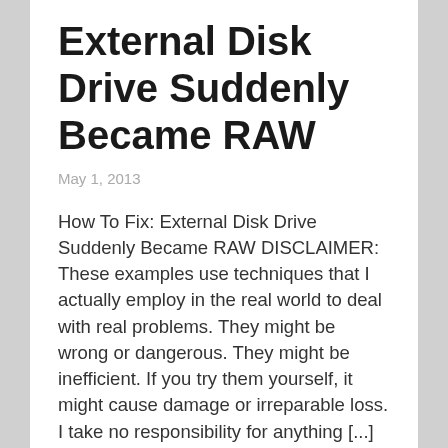External Disk Drive Suddenly Became RAW
May 1, 2013
How To Fix: External Disk Drive Suddenly Became RAW DISCLAIMER: These examples use techniques that I actually employ in the real world to deal with real problems. They might be wrong or dangerous. They might be inefficient. If you try them yourself, it might cause damage or irreparable loss. I take no responsibility for anything [...]